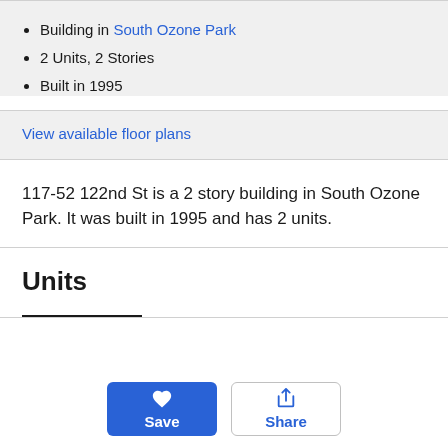Building in South Ozone Park
2 Units, 2 Stories
Built in 1995
View available floor plans
117-52 122nd St is a 2 story building in South Ozone Park. It was built in 1995 and has 2 units.
Units